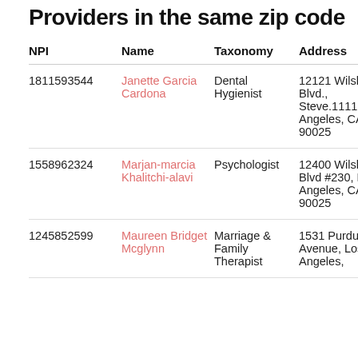Providers in the same zip code
| NPI | Name | Taxonomy | Address | En |
| --- | --- | --- | --- | --- |
| 1811593544 | Janette Garcia Cardona | Dental Hygienist | 12121 Wilshire Blvd., Steve.1111, Los Angeles, CA 90025 | 20 |
| 1558962324 | Marjan-marcia Khalitchi-alavi | Psychologist | 12400 Wilshire Blvd #230, Los Angeles, CA 90025 | 20 |
| 1245852599 | Maureen Bridget Mcglynn | Marriage & Family Therapist | 1531 Purdue Avenue, Los Angeles, | 20 |